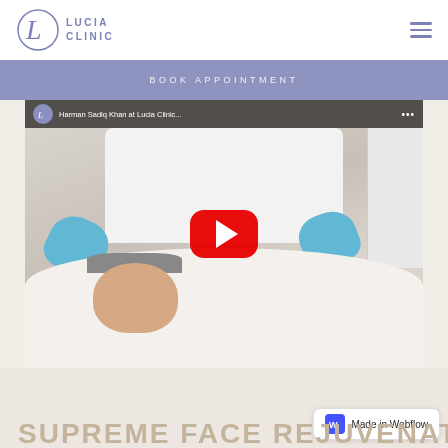[Figure (logo): Lucia Clinic logo with stylized L monogram in a circle and text LUCIA CLINIC in blue-grey]
BOOK APPOINTMENT
[Figure (screenshot): YouTube video thumbnail showing a medical practitioner wearing blue gloves performing a facial treatment on a patient lying down at Lucia Clinic. Video title reads 'Harman Sadiq Khan at Lucia Clinic...' with a red YouTube play button overlay.]
[Figure (logo): Made in Webflow badge with blue W icon]
Made in Webflow
SUPREME FACE REJUVENATION (partially visible)